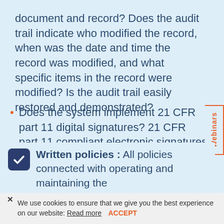document and record? Does the audit trail indicate who modified the record, when was the date and time the record was modified, and what specific items in the record were modified? Is the audit trail easily restored and demonstrated?
Does the system implement 21 CFR part 11 digital signatures? 21 CFR part 11 compliant electronic signatures attest to the creation, review, or approval by an authorized person.
Written policies : All policies connected with operating and maintaining the
We use cookies to ensure that we give you the best experience on our website: Read more  ACCEPT